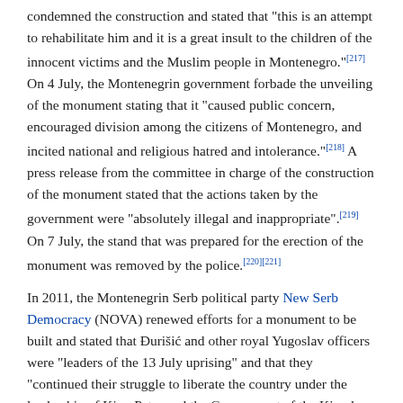condemned the construction and stated that "this is an attempt to rehabilitate him and it is a great insult to the children of the innocent victims and the Muslim people in Montenegro."[217] On 4 July, the Montenegrin government forbade the unveiling of the monument stating that it "caused public concern, encouraged division among the citizens of Montenegro, and incited national and religious hatred and intolerance."[218] A press release from the committee in charge of the construction of the monument stated that the actions taken by the government were "absolutely illegal and inappropriate".[219] On 7 July, the stand that was prepared for the erection of the monument was removed by the police.[220][221]
In 2011, the Montenegrin Serb political party New Serb Democracy (NOVA) renewed efforts for a monument to be built and stated that Đurišić and other royal Yugoslav officers were "leaders of the 13 July uprising" and that they "continued their struggle to liberate the country under the leadership of King Peter and the Government of the Kingdom of Yugoslavia."[222]
Bosnia and Herzegovina
On 22 July 1996, the Republika Srpska entity of Bosnia and